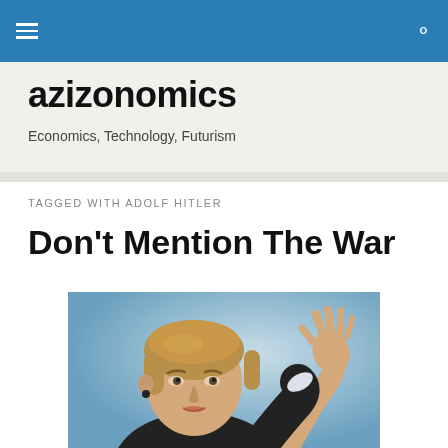azizonomics — navigation bar with hamburger menu and search icon
azizonomics
Economics, Technology, Futurism
TAGGED WITH ADOLF HITLER
Don't Mention The War
[Figure (photo): Photo of Angela Merkel gesturing with her hand raised against a light blue background]